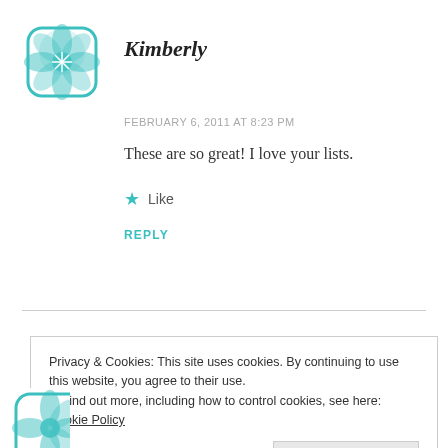[Figure (logo): Teal geometric floral avatar icon for user Kimberly]
Kimberly
FEBRUARY 6, 2011 AT 8:23 PM
These are so great! I love your lists.
★ Like
REPLY
Privacy & Cookies: This site uses cookies. By continuing to use this website, you agree to their use.
To find out more, including how to control cookies, see here: Cookie Policy
Close and accept